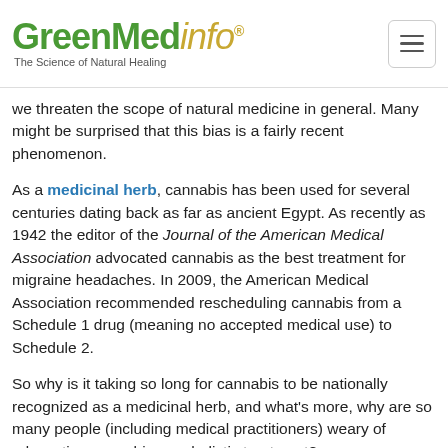GreenMedinfo® — The Science of Natural Healing
we threaten the scope of natural medicine in general. Many might be surprised that this bias is a fairly recent phenomenon.
As a medicinal herb, cannabis has been used for several centuries dating back as far as ancient Egypt. As recently as 1942 the editor of the Journal of the American Medical Association advocated cannabis as the best treatment for migraine headaches. In 2009, the American Medical Association recommended rescheduling cannabis from a Schedule 1 drug (meaning no accepted medical use) to Schedule 2.
So why is it taking so long for cannabis to be nationally recognized as a medicinal herb, and what's more, why are so many people (including medical practitioners) weary of advocating cannabis as a holistic treatment?
“It’s the result of a very effective propaganda campaign that has not paid